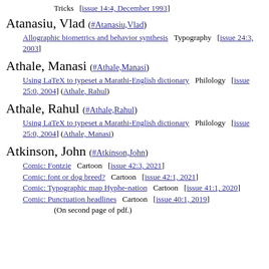Tricks [issue 14:4, December 1993]
Atanasiu, Vlad (#Atanasiu,Vlad)
Allographic biometrics and behavior synthesis  Typography  [issue 24:3, 2003]
Athale, Manasi (#Athale,Manasi)
Using LaTeX to typeset a Marathi-English dictionary  Philology  [issue 25:0, 2004] (Athale, Rahul)
Athale, Rahul (#Athale,Rahul)
Using LaTeX to typeset a Marathi-English dictionary  Philology  [issue 25:0, 2004] (Athale, Manasi)
Atkinson, John (#Atkinson,John)
Comic: Fontzie  Cartoon  [issue 42:3, 2021]
Comic: font or dog breed?  Cartoon  [issue 42:1, 2021]
Comic: Typographic map Hyphe-nation  Cartoon  [issue 41:1, 2020]
Comic: Punctuation headlines  Cartoon  [issue 40:1, 2019]
(On second page of pdf.)